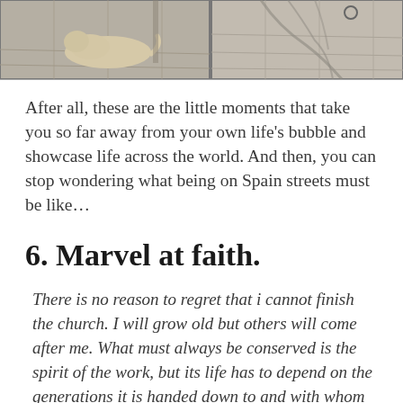[Figure (photo): Two-panel photo strip: left panel shows a fluffy animal (dog or cat) lying on stone/tile pavement with a shadow of a post; right panel shows a stone tile pavement with tree branch shadows.]
After all, these are the little moments that take you so far away from your own life's bubble and showcase life across the world. And then, you can stop wondering what being on Spain streets must be like…
6. Marvel at faith.
There is no reason to regret that i cannot finish the church. I will grow old but others will come after me. What must always be conserved is the spirit of the work, but its life has to depend on the generations it is handed down to and with whom it lives and is incorporated.